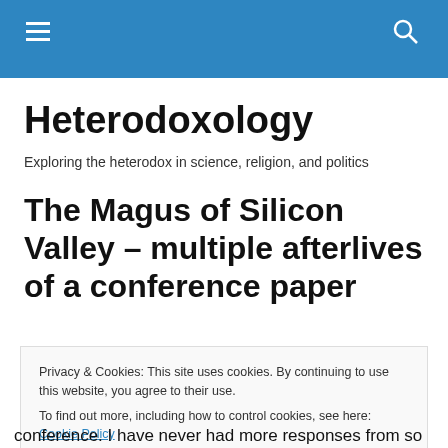Heterodoxology — site navigation header bar
Heterodoxology
Exploring the heterodox in science, religion, and politics
The Magus of Silicon Valley – multiple afterlives of a conference paper
Privacy & Cookies: This site uses cookies. By continuing to use this website, you agree to their use.
To find out more, including how to control cookies, see here: Cookie Policy
Close and accept
conference.  I have never had more responses from so